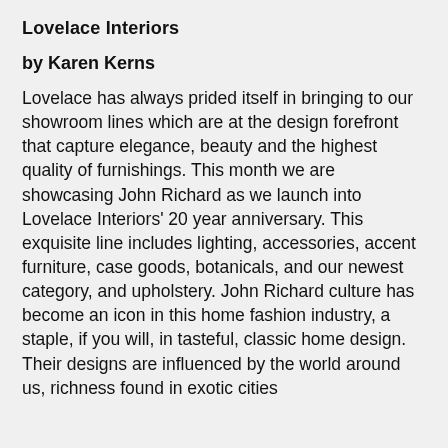Lovelace Interiors
by Karen Kerns
Lovelace has always prided itself in bringing to our showroom lines which are at the design forefront that capture elegance, beauty and the highest quality of furnishings. This month we are showcasing John Richard as we launch into Lovelace Interiors' 20 year anniversary. This exquisite line includes lighting, accessories, accent furniture, case goods, botanicals, and our newest category, and upholstery. John Richard culture has become an icon in this home fashion industry, a staple, if you will, in tasteful, classic home design. Their designs are influenced by the world around us, richness found in exotic cities